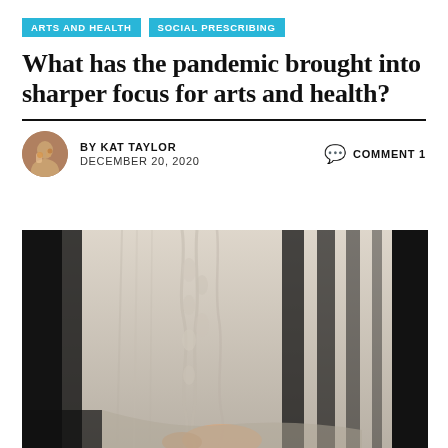ARTS AND HEALTH  SOCIAL PRESCRIBING
What has the pandemic brought into sharper focus for arts and health?
BY KAT TAYLOR   DECEMBER 20, 2020   COMMENT 1
[Figure (photo): Close-up photograph of a cream/white cable-knit sweater with dramatic light and shadow stripes across it, and a hand visible at the bottom holding the fabric.]